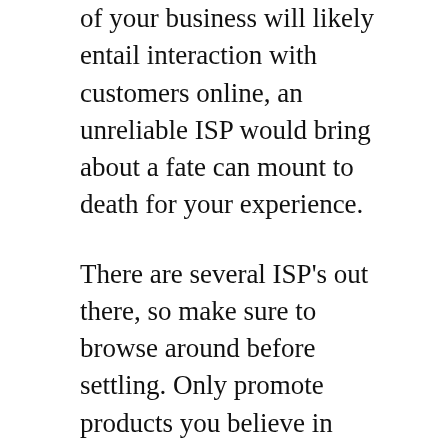of your business will likely entail interaction with customers online, an unreliable ISP would bring about a fate can mount to death for your experience.
There are several ISP's out there, so make sure to browse around before settling. Only promote products you believe in 100%. Find manufacturers that have the type of policies and values you can comfortably stand behind. When you spend a lot of time, money, and effort to build a business and promote products, your belief in those products comes through in every thing you do. To ensure that your home business is successful be sure to network with other local or home businesses.